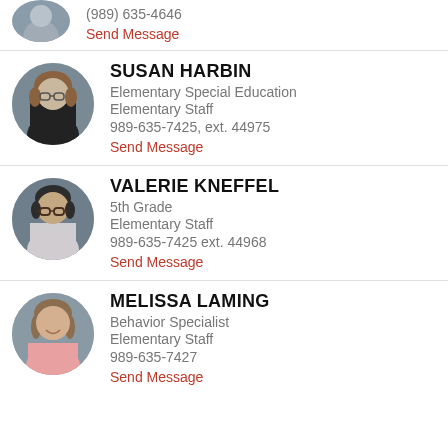(989) 635-4646
Send Message
SUSAN HARBIN
Elementary Special Education
Elementary Staff
989-635-7425, ext. 44975
Send Message
VALERIE KNEFFEL
5th Grade
Elementary Staff
989-635-7425 ext. 44968
Send Message
MELISSA LAMING
Behavior Specialist
Elementary Staff
989-635-7427
Send Message